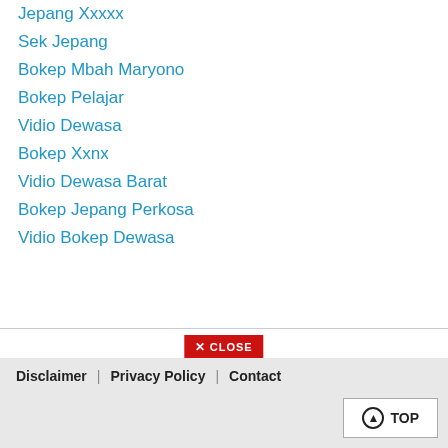Jepang Xxxxx
Sek Jepang
Bokep Mbah Maryono
Bokep Pelajar
Vidio Dewasa
Bokep Xxnx
Vidio Dewasa Barat
Bokep Jepang Perkosa
Vidio Bokep Dewasa
Disclaimer | Privacy Policy | Contact